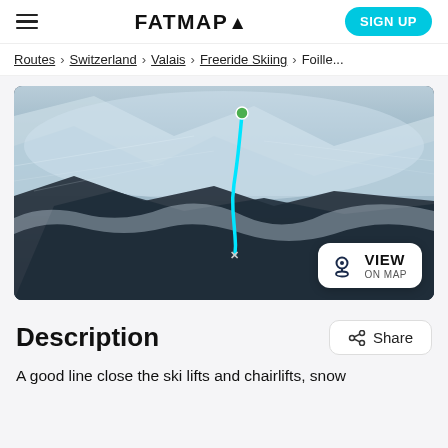FATMAP▲
Routes > Switzerland > Valais > Freeride Skiing > Foille...
[Figure (map): Satellite/aerial mountain map showing a ski route traced in cyan/teal from a green dot start point, descending through a snow-covered slope with trees, with a VIEW ON MAP button overlay.]
Description
A good line close the ski lifts and chairlifts, snow